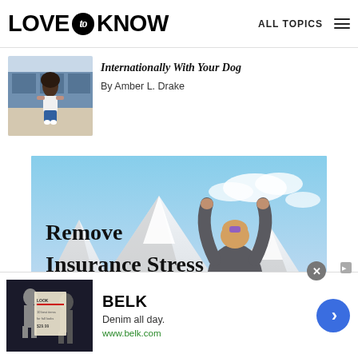LOVE to KNOW | ALL TOPICS
Internationally With Your Dog
By Amber L. Drake
[Figure (photo): Insurance advertisement showing a woman sitting on top of a car roof with snow-capped mountains in the background. Text overlay reads: Remove Insurance Stress Replace With Love]
[Figure (photo): BELK advertisement showing fashion clothing. Text: BELK, Denim all day., www.belk.com]